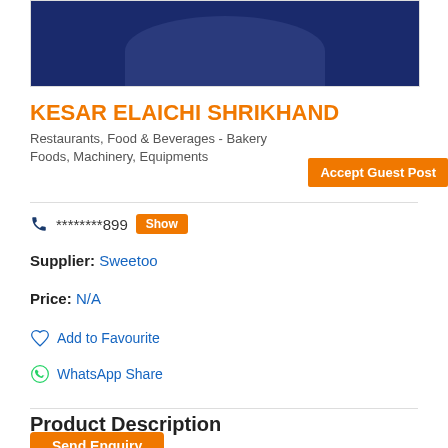[Figure (photo): Product image showing a dark blue background with a rounded shape at the top of the page]
KESAR ELAICHI SHRIKHAND
Restaurants, Food & Beverages - Bakery Foods, Machinery, Equipments
Accept Guest Post
********899 Show
Supplier: Sweetoo
Price: N/A
Add to Favourite
WhatsApp Share
Product Description
Send Enquiry